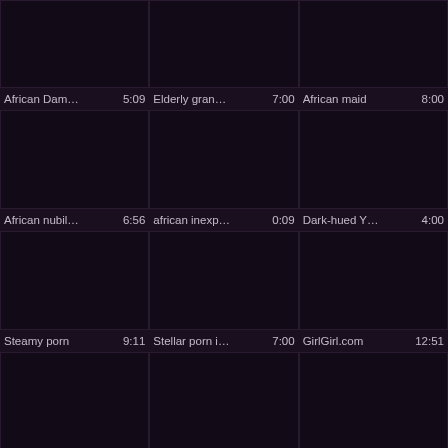[Figure (screenshot): Video thumbnail grid row 1, col 1 - dark/black thumbnail]
African Dam… 5:09
[Figure (screenshot): Video thumbnail grid row 1, col 2 - dark/black thumbnail]
Elderly gran… 7:00
[Figure (screenshot): Video thumbnail grid row 1, col 3 - dark/black thumbnail]
African maid 8:00
[Figure (screenshot): Video thumbnail grid row 2, col 1 - dark/black thumbnail]
African nubil… 6:56
[Figure (screenshot): Video thumbnail grid row 2, col 2 - dark/black thumbnail]
african inexp… 0:09
[Figure (screenshot): Video thumbnail grid row 2, col 3 - dark/black thumbnail]
Dark-hued Y… 4:00
[Figure (screenshot): Video thumbnail grid row 3, col 1 - dark/black thumbnail]
Steamy porn 9:11
[Figure (screenshot): Video thumbnail grid row 3, col 2 - dark/black thumbnail]
Stellar porn i… 7:00
[Figure (screenshot): Video thumbnail grid row 3, col 3 - dark/black thumbnail]
GirlGirl.com 12:51
[Figure (screenshot): Video thumbnail grid row 4, col 1 - dark/black thumbnail]
Nasty porn in… 23:03
[Figure (screenshot): Video thumbnail grid row 4, col 2 - dark/black thumbnail]
Porn industr… 15:51
[Figure (screenshot): Video thumbnail grid row 4, col 3 - dark/black thumbnail]
VR PORN-D 5:47